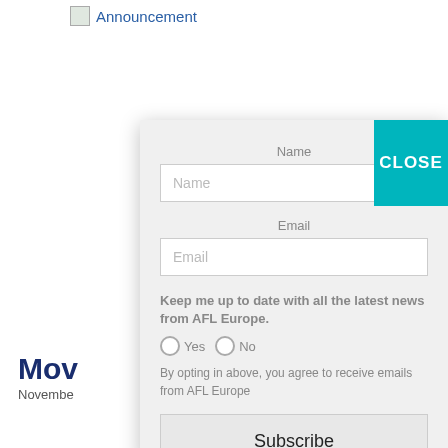[Figure (logo): Small image icon followed by 'Announcement' text link in blue]
Mov
Novembe
Name
Name
Email
Email
Keep me up to date with all the latest news from AFL Europe.
Yes   No
By opting in above, you agree to receive emails from AFL Europe
Subscribe
CLOSE